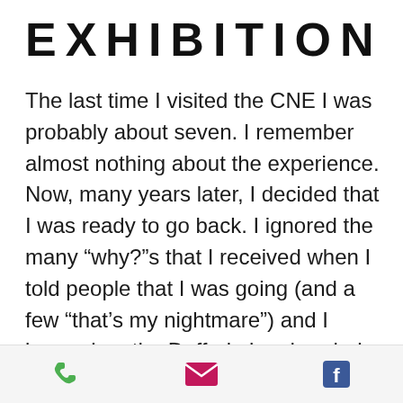EXHIBITION
The last time I visited the CNE I was probably about seven. I remember almost nothing about the experience. Now, many years later, I decided that I was ready to go back. I ignored the many “why?”s that I received when I told people that I was going (and a few “that’s my nightmare”) and I jumped on the Dufferin bus headed for glory. Well, I didn’t find glory per say. I found a whole lot of people, some expensive games
[Figure (other): Mobile app bottom navigation bar with three icons: green phone icon, pink/magenta envelope icon, blue Facebook icon]